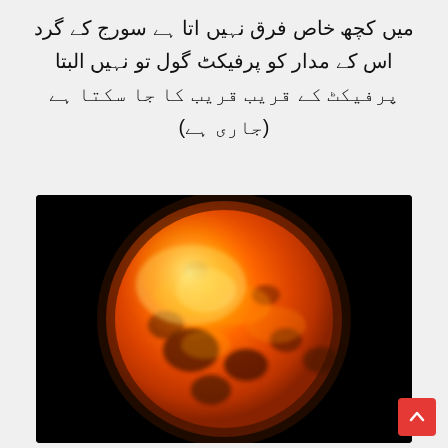میں کچھ خاص فرق نہیں اتا ہے سورج کے گرد اس کے مدار کو پرفیکٹ گول تو نہیں البتا پرفیکٹ کے قریب قریب کا جا سکتا ہے (جاری ہے)
[Figure (photo): A photograph of Venus showing its orange and yellow surface with dark patches, against a black background. The planet appears as a large sphere filling most of the image.]